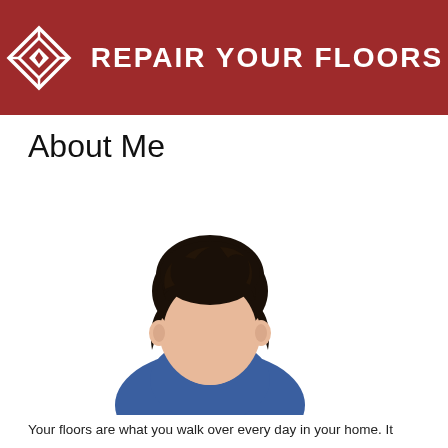REPAIR YOUR FLOORS
About Me
[Figure (illustration): Flat vector illustration of a person with dark curly hair, a skin-toned face, and a blue shirt, shown from the shoulders up as a generic avatar/profile image.]
Your floors are what you walk over every day in your home. It